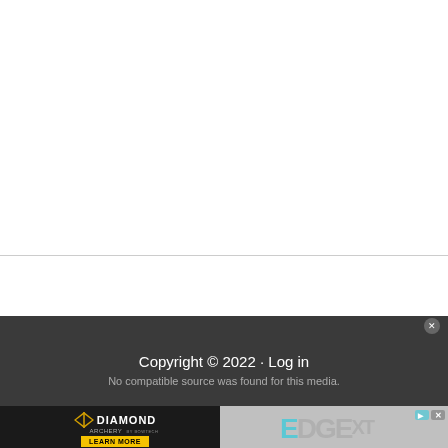Copyright © 2022 · Log in
No compatible source was found for this media.
[Figure (photo): Diamond Archery Edge XT advertisement banner with bow image and Learn More button]